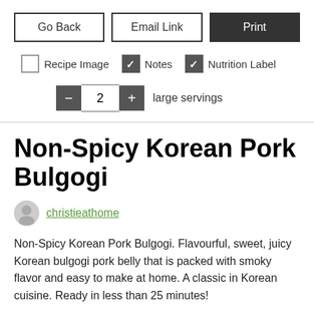[Figure (other): UI control row with three buttons: Go Back, Email Link, Print]
[Figure (other): Checkbox row: Recipe Image (unchecked), Notes (checked), Nutrition Label (checked)]
[Figure (other): Serving size control: minus button, '2' input, plus button, 'large servings' label]
Non-Spicy Korean Pork Bulgogi
christieathome
Non-Spicy Korean Pork Bulgogi. Flavourful, sweet, juicy Korean bulgogi pork belly that is packed with smoky flavor and easy to make at home. A classic in Korean cuisine. Ready in less than 25 minutes!